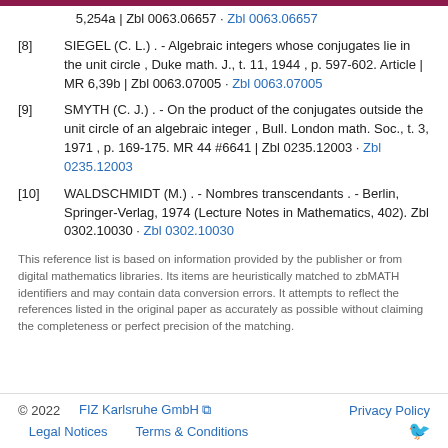Bull. math. S., t. 22, 0. 11, p. 150-158. Note | MR 5,254a | Zbl 0063.06657 · Zbl 0063.06657
[8] SIEGEL (C. L.) . - Algebraic integers whose conjugates lie in the unit circle , Duke math. J., t. 11, 1944 , p. 597-602. Article | MR 6,39b | Zbl 0063.07005 · Zbl 0063.07005
[9] SMYTH (C. J.) . - On the product of the conjugates outside the unit circle of an algebraic integer , Bull. London math. Soc., t. 3, 1971 , p. 169-175. MR 44 #6641 | Zbl 0235.12003 · Zbl 0235.12003
[10] WALDSCHMIDT (M.) . - Nombres transcendants . - Berlin, Springer-Verlag, 1974 (Lecture Notes in Mathematics, 402). Zbl 0302.10030 · Zbl 0302.10030
This reference list is based on information provided by the publisher or from digital mathematics libraries. Its items are heuristically matched to zbMATH identifiers and may contain data conversion errors. It attempts to reflect the references listed in the original paper as accurately as possible without claiming the completeness or perfect precision of the matching.
© 2022    FIZ Karlsruhe GmbH    Privacy Policy    Legal Notices    Terms & Conditions